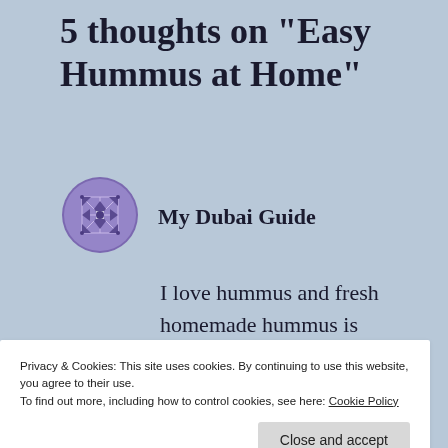5 thoughts on “Easy Hummus at Home”
[Figure (logo): My Dubai Guide avatar/logo: a decorative circular icon with blue/purple geometric quilt pattern]
My Dubai Guide
I love hummus and fresh homemade hummus is the best ever!
Privacy & Cookies: This site uses cookies. By continuing to use this website, you agree to their use.
To find out more, including how to control cookies, see here: Cookie Policy
Close and accept